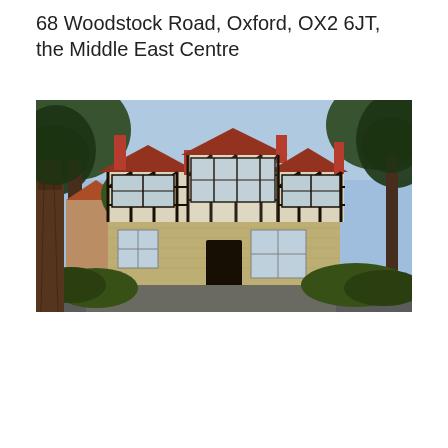68 Woodstock Road, Oxford, OX2 6JT, the Middle East Centre
[Figure (photo): Exterior photograph of 68 Woodstock Road, Oxford — a Tudor-style two-storey building with half-timbered black-and-white upper facade, red-tiled gabled roofs, and a honey-coloured stone ground floor with large windows. Large trees frame the building on either side. The foreground shows a driveway and shrubs.]